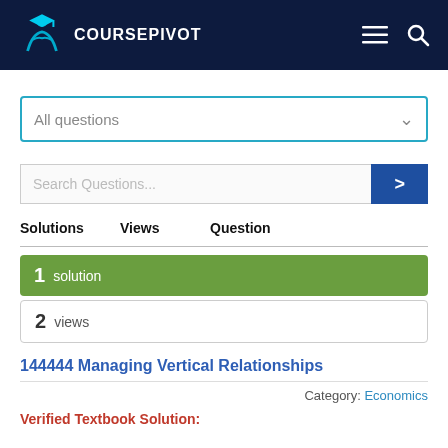COURSEPIVOT
All questions
Search Questions...
Solutions   Views   Question
1 solution
2 views
144444 Managing Vertical Relationships
Category: Economics
Verified Textbook Solution: